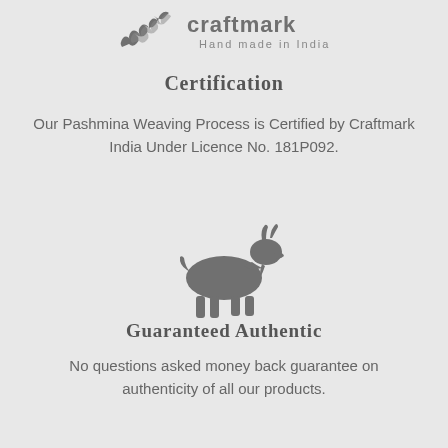[Figure (logo): Craftmark Hand made in India logo with decorative leaf/feather graphic and stylized text]
Certification
Our Pashmina Weaving Process is Certified by Craftmark India Under Licence No. 181P092.
[Figure (illustration): Silhouette of a goat in dark grey]
Guaranteed Authentic
No questions asked money back guarantee on authenticity of all our products.